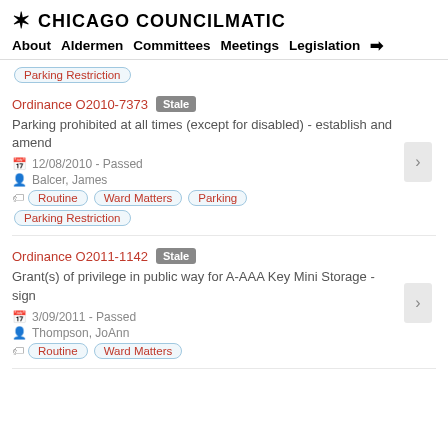CHICAGO COUNCILMATIC
About Aldermen Committees Meetings Legislation →
Parking Restriction
Ordinance O2010-7373 Stale
Parking prohibited at all times (except for disabled) - establish and amend
12/08/2010 - Passed
Balcer, James
Routine   Ward Matters   Parking   Parking Restriction
Ordinance O2011-1142 Stale
Grant(s) of privilege in public way for A-AAA Key Mini Storage - sign
3/09/2011 - Passed
Thompson, JoAnn
Routine   Ward Matters